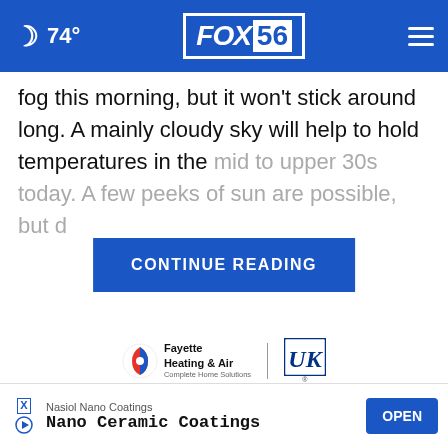🌙 74° | FOX 56
fog this morning, but it won't stick around long. A mainly cloudy sky will help to hold temperatures in the mid to upper 30s today. A few peeks of sun are possible, but d
CONTINUE READING
[Figure (logo): Fayette Heating & Air | UK Athletics logo. THE OFFICIAL HEATING & AIR COMPANY OF UK ATHLETICS]
[Figure (photo): Photo of smiling family group - young woman, young man, older woman and older man]
Nasiol Nano Coatings
Nano Ceramic Coatings
OPEN